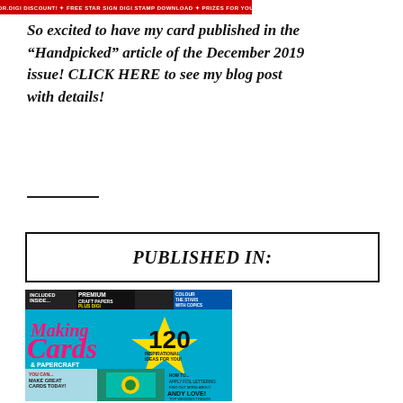[Figure (illustration): Red banner with white text: DR.DIGI DISCOUNT! FREE STAR SIGN DIGI STAMP DOWNLOAD PRIZES FOR YOU]
So excited to have my card published in the "Handpicked" article of the December 2019 issue! CLICK HERE to see my blog post with details!
PUBLISHED IN:
[Figure (photo): Magazine cover of Making Cards & Papercraft showing a sunflower card, text: INCLUDED INSIDE... PREMIUM CRAFT PAPERS PLUS DIGI, COLOUR THE STARS WITH COPICS, OVER 120 INSPIRATIONAL IDEAS FOR YOU!, YOU CAN MAKE GREAT CARDS TODAY!, APPLY FOIL LETTERING, FIND OUT MORE ABOUT ANDY LOVE!, TOP WEDDING TRENDS]